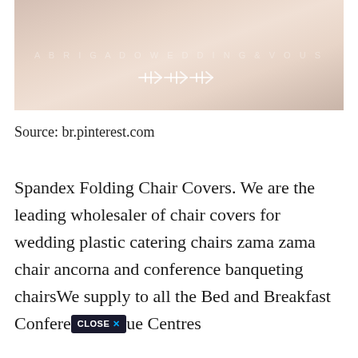[Figure (photo): Photo of a chair with blush/pink fabric on a light wood floor background, with white arrow/leaf watermark overlay and a faint watermark text in the background]
Source: br.pinterest.com
Spandex Folding Chair Covers. We are the leading wholesaler of chair covers for wedding plastic catering chairs zama zama chair ancorna and conference banqueting chairsWe supply to all the Bed and Breakfast Conference Venue Centres